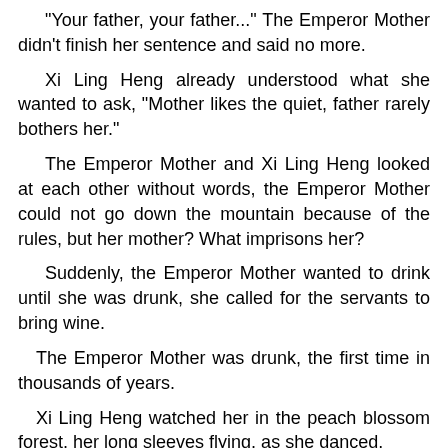"Your father, your father..." The Emperor Mother didn't finish her sentence and said no more.
Xi Ling Heng already understood what she wanted to ask, "Mother likes the quiet, father rarely bothers her."
The Emperor Mother and Xi Ling Heng looked at each other without words, the Emperor Mother could not go down the mountain because of the rules, but her mother? What imprisons her?
Suddenly, the Emperor Mother wanted to drink until she was drunk, she called for the servants to bring wine.
The Emperor Mother was drunk, the first time in thousands of years.
Xi Ling Heng watched her in the peach blossom forest, her long sleeves flying, as she danced.
The Emperor Mother laughed and called her, "Ah Lei, quick come, Ah Lei, quick come..."